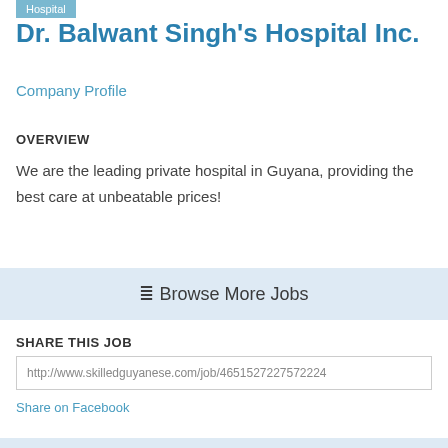Hospital
Dr. Balwant Singh's Hospital Inc.
Company Profile
OVERVIEW
We are the leading private hospital in Guyana, providing the best care at unbeatable prices!
≡ Browse More Jobs
SHARE THIS JOB
http://www.skilledguyanese.com/job/4651527227572224
Share on Facebook